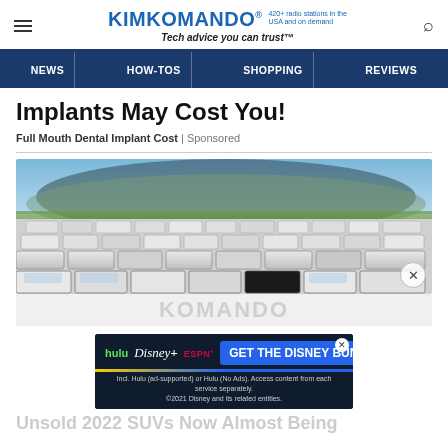KIM KOMANDO® 420+ radio stations in the USA and on demand Tech advice you can trust™
NEWS | HOW-TOS | SHOPPING | REVIEWS
Implants May Cost You!
Full Mouth Dental Implant Cost | Sponsored
[Figure (photo): Large field filled with hundreds of new white SUVs and cars parked in rows, with a broad green mountain in the background under a partly cloudy blue sky.]
[Figure (screenshot): Disney Bundle advertisement showing Hulu, Disney+, and ESPN+ logos with a 'GET THE DISNEY BUNDLE' button. Text: Incl. Hulu (ad-supported) or Hulu (No Ads). Access content from each service separately. ©2021 Disney and its related entities.]
Unsold 2022 SUVs Now Almost Being